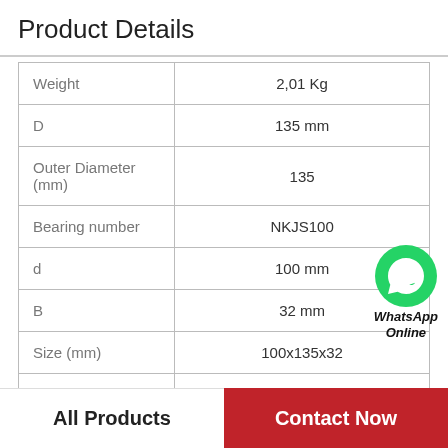Product Details
| Property | Value |
| --- | --- |
| Weight | 2,01 Kg |
| D | 135 mm |
| Outer Diameter (mm) | 135 |
| Bearing number | NKJS100 |
| d | 100 mm |
| B | 32 mm |
| Size (mm) | 100x135x32 |
|  |  |
[Figure (logo): WhatsApp Online green circle logo with WhatsApp icon and text 'WhatsApp Online']
All Products
Contact Now